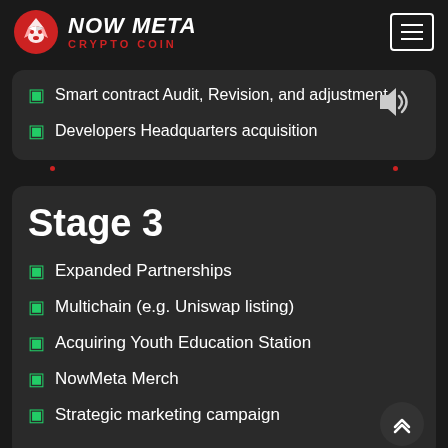[Figure (logo): NOW META CRYPTO COIN logo with red fox icon and hamburger menu button]
Smart contract Audit, Revision, and adjustment
Developers Headquarters acquisition
Stage 3
Expanded Partnerships
Multichain (e.g. Uniswap listing)
Acquiring Youth Education Station
NowMeta Merch
Strategic marketing campaign